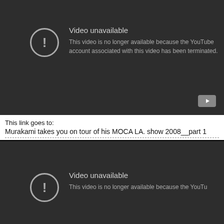[Figure (screenshot): YouTube video unavailable screen (dark background). Shows exclamation icon in circle, 'Video unavailable' title and message that account has been terminated. YouTube play button icon in bottom-right.]
This link goes to:
Murakami takes you on tour of his MOCA LA. show 2008__part 1
--------------------------------------------------------------------------------------------
[Figure (screenshot): Second YouTube video unavailable screen (dark background, partially visible). Shows exclamation icon and 'Video unavailable' text, beginning of the same message.]